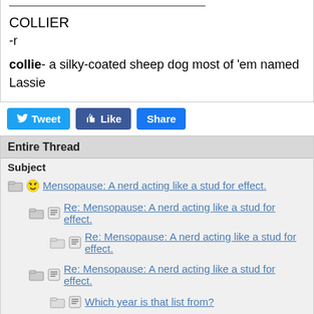COLLIER
-r
collie- a silky-coated sheep dog most of 'em named Lassie
[Figure (screenshot): Social sharing buttons: Tweet, Like, Share]
Entire Thread
Subject
Mensopause: A nerd acting like a stud for effect.
Re: Mensopause: A nerd acting like a stud for effect.
Re: Mensopause: A nerd acting like a stud for effect.
Re: Mensopause: A nerd acting like a stud for effect.
Which year is that list from?
Re: Which year is that list from?